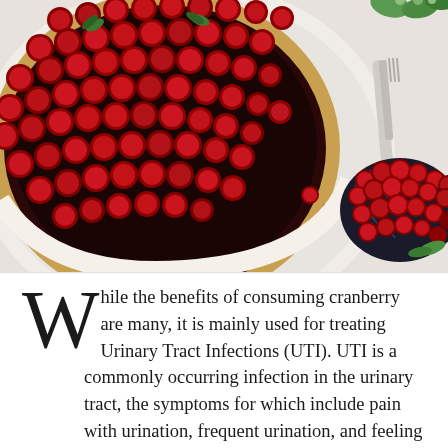[Figure (photo): Close-up overhead photograph of a cranberry tart on a white plate with fresh whole cranberries piled on top with a dark glaze, garnished with mint leaves. A knife/fork rests beside it on a white surface. A second smaller bowl with cranberries is visible in the lower right corner.]
While the benefits of consuming cranberry are many, it is mainly used for treating Urinary Tract Infections (UTI). UTI is a commonly occurring infection in the urinary tract, the symptoms for which include pain with urination, frequent urination, and feeling the need to urinate despite having an empty bladder. It can be seen in men and women and the symptoms are similar for both.